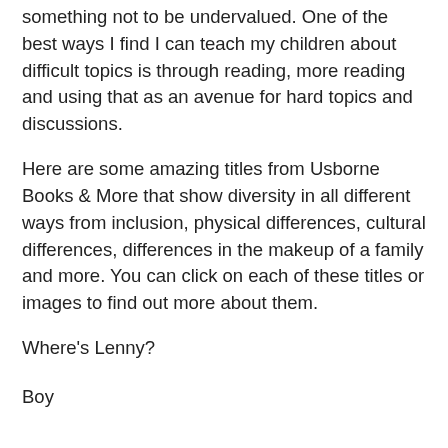Diversity and representation in books is something not to be undervalued. One of the best ways I find I can teach my children about difficult topics is through reading, more reading and using that as an avenue for hard topics and discussions.
Here are some amazing titles from Usborne Books & More that show diversity in all different ways from inclusion, physical differences, cultural differences, differences in the makeup of a family and more. You can click on each of these titles or images to find out more about them.
Where's Lenny?
Boy